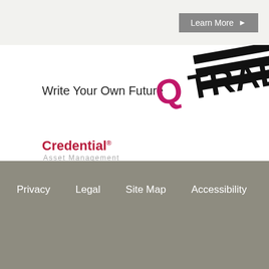[Figure (logo): Learn More button with arrow on grey banner background]
[Figure (logo): QTRADE logo in bold black with magenta Q and diagonal stripe lines, with slogan 'Write Your Own Future']
[Figure (logo): Credential Asset Management logo in dark red/maroon]
* Mutual funds, other securities and securities related financial planning services are offered through C Inc. Mutual Funds are also offered through Qtrade Asset Management Inc. and Credential Asset Mana Qtrade Investor, a division of Credential Qtrade Securities Inc. VirtualWealth is a trade name of Crede
Privacy   Legal   Site Map   Accessibility